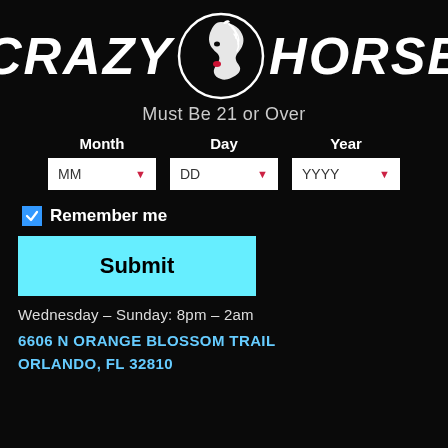[Figure (logo): Crazy Horse logo with stylized horse head in a circle between the words CRAZY and HORSE in large bold italic white text]
Must Be 21 or Over
| Month | Day | Year |
| --- | --- | --- |
| MM ▼ | DD ▼ | YYYY ▼ |
☑ Remember me
Submit
Wednesday – Sunday: 8pm – 2am
6606 N ORANGE BLOSSOM TRAIL
ORLANDO, FL 32810